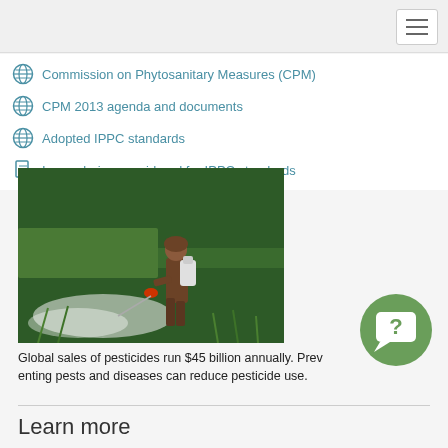Navigation bar with hamburger menu
Commission on Phytosanitary Measures (CPM)
CPM 2013 agenda and documents
Adopted IPPC standards
Issues being considered for IPPC standards
[Figure (photo): A farmer wearing a backpack sprayer walking through a green field, spraying pesticide]
Global sales of pesticides run $45 billion annually. Preventing pests and diseases can reduce pesticide use.
Learn more